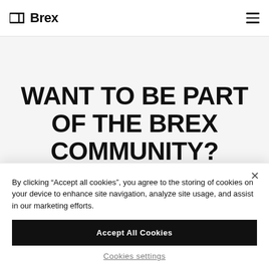Brex
WANT TO BE PART OF THE BREX COMMUNITY?
By clicking “Accept all cookies”, you agree to the storing of cookies on your device to enhance site navigation, analyze site usage, and assist in our marketing efforts.
Accept All Cookies
Cookies settings